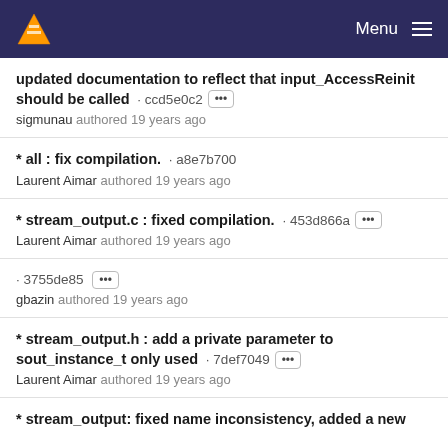Menu
updated documentation to reflect that input_AccessReinit should be called · ccd5e0c2
simunau authored 19 years ago
* all : fix compilation. · a8e7b700
Laurent Aimar authored 19 years ago
* stream_output.c : fixed compilation. · 453d866a
Laurent Aimar authored 19 years ago
· 3755de85
gbazin authored 19 years ago
* stream_output.h : add a private parameter to sout_instance_t only used · 7def7049
Laurent Aimar authored 19 years ago
* stream_output: fixed name inconsistency, added a new